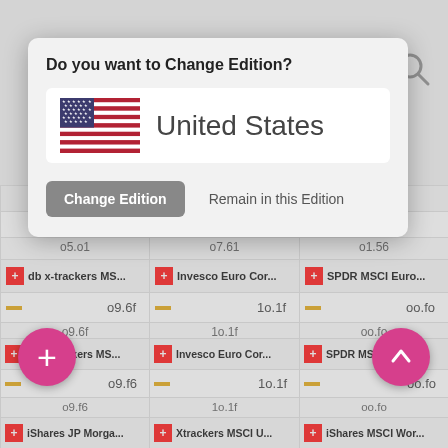[Figure (screenshot): Dialog asking 'Do you want to Change Edition?' showing United States flag and two buttons: Change Edition and Remain in this Edition]
| db x-trackers MS... | Invesco Euro Cor... | SPDR MSCI Euro... |
| --- | --- | --- |
| 79.02 | 18.14 | 88.48 |
| 79.02 | 18.14 | 88.48 |
| iShares JP Morga... | Xtrackers MSCI U... | iShares MSCI Wor... |
| 3.18 | 40.5 | 32.12 |
| 3.18 | 40.5 | 32.12 |
| Xtrackers MSCI J... | UBS MSCI Emergi... | iShares $ Treasur... |
| 17.75 | 9.66 | 127.4 |
| 17.75 | 9.66 | 127.4 |
| Source Energy S... | UBS - MSCI EMU ... | UBS ETF - MSCI S... |